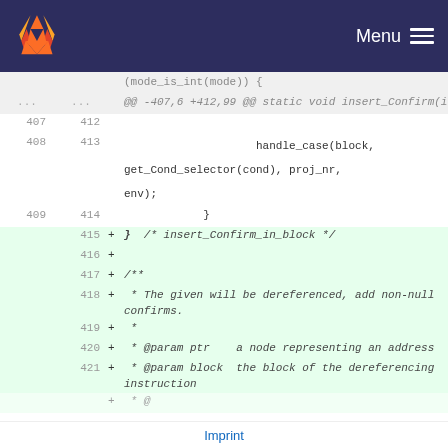Menu
[Figure (screenshot): Code diff view from GitLab showing changes to a C source file. Lines 407-409 show context (unchanged) code with handle_case(block, get_Cond_selector(cond), proj_nr, env); and closing brace. Lines 415-421 show added lines: closing brace with comment insert_Confirm_in_block, blank line, opening of a doxygen comment block describing a function that dereferences a pointer and adds non-null confirms, with @param ptr and @param block documentation.]
Imprint